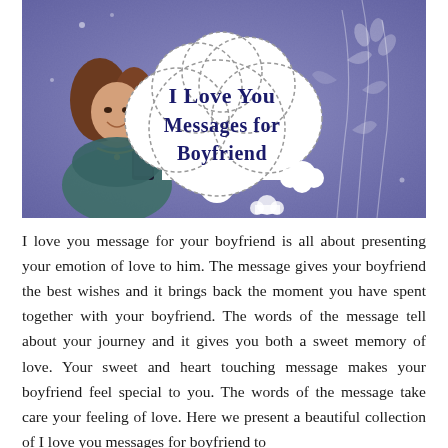[Figure (illustration): A banner image with a purple/lavender textured background featuring a young woman smiling and looking at her phone on the left side. A large white cloud speech bubble in the center contains the text 'I Love You Messages for Boyfriend' in dark navy font. Decorative white floral elements and smaller cloud shapes are visible on the right side.]
I love you message for your boyfriend is all about presenting your emotion of love to him. The message gives your boyfriend the best wishes and it brings back the moment you have spent together with your boyfriend. The words of the message tell about your journey and it gives you both a sweet memory of love. Your sweet and heart touching message makes your boyfriend feel special to you. The words of the message take care your feeling of love. Here we present a beautiful collection of I love you messages for boyfriend to...